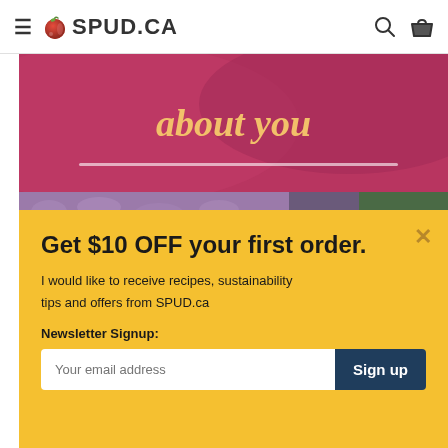≡ 🍎 SPUD.CA
[Figure (screenshot): Pink/magenta banner with italic text 'about you' in golden color, with a white underline beneath it]
[Figure (photo): Strip of purple/lavender knitted or bundled flowers/produce]
Get $10 OFF your first order.
I would like to receive recipes, sustainability tips and offers from SPUD.ca
Newsletter Signup:
Your email address  Sign up